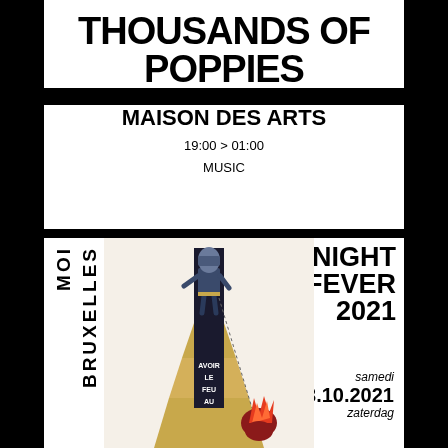THOUSANDS OF POPPIES
MAISON DES ARTS
19:00 > 01:00
MUSIC
[Figure (illustration): Event poster for Night Fever 2021 with text MOI BRUXELLES, AVOIR LE FEU AU. Features an illustrated figure in dark clothing atop a monument-like structure, with a flaming torch/figure below. Date: samedi 23.10.2021 zaterdag.]